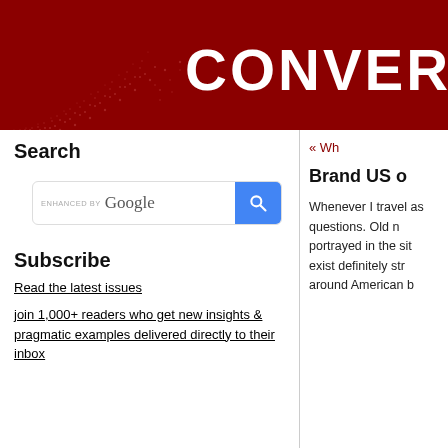[Figure (logo): Dark red banner header with dotted circular pattern on left and large white bold text 'CONVERS' (truncated) on the right]
Search
[Figure (screenshot): Google enhanced search box with blue search button]
Subscribe
Read the latest issues
join 1,000+ readers who get new insights & pragmatic examples delivered directly to their inbox
« Wh
Brand US o
Whenever I travel as questions. Old n portrayed in the sit exist definitely str around American b